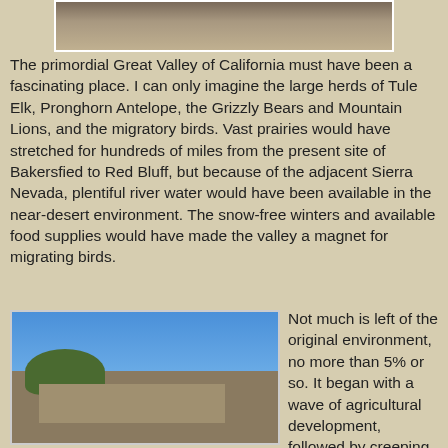[Figure (photo): Partial top photo of animal or landscape, cropped at top of page]
The primordial Great Valley of California must have been a fascinating place. I can only imagine the large herds of Tule Elk, Pronghorn Antelope, the Grizzly Bears and Mountain Lions, and the migratory birds. Vast prairies would have stretched for hundreds of miles from the present site of Bakersfied to Red Bluff, but because of the adjacent Sierra Nevada, plentiful river water would have been available in the near-desert environment. The snow-free winters and available food supplies would have made the valley a magnet for migrating birds.
[Figure (photo): Aerial or elevated view of buildings and landscape with blue sky, trees, and construction or development area in the foreground]
Not much is left of the original environment, no more than 5% or so. It began with a wave of agricultural development, followed by creeping